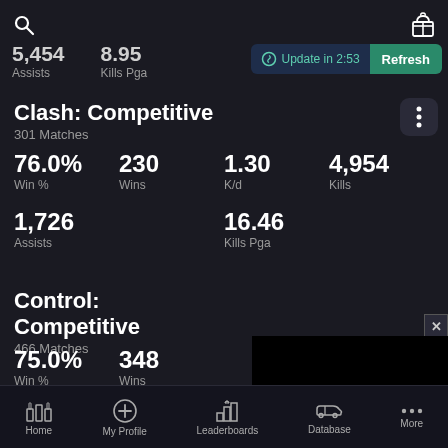Search | Gift
5,454 Assists | 8.95 Kills Pga
Update in 2:53 | Refresh
Clash: Competitive
301 Matches
76.0% Win % | 230 Wins | 1.30 K/d | 4,954 Kills
1,726 Assists | 16.46 Kills Pga
Control: Competitive
466 Matches
75.0% Win % | 348 Wins
Home | My Profile | Leaderboards | Database | More